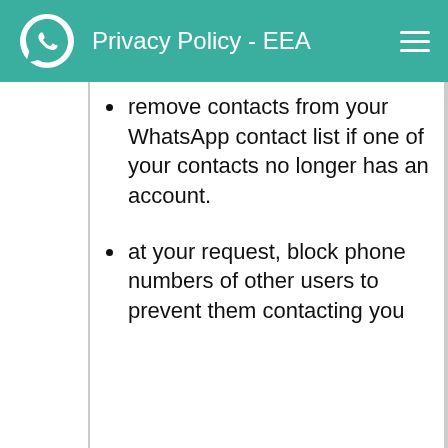Privacy Policy - EEA
remove contacts from your WhatsApp contact list if one of your contacts no longer has an account.
at your request, block phone numbers of other users to prevent them contacting you